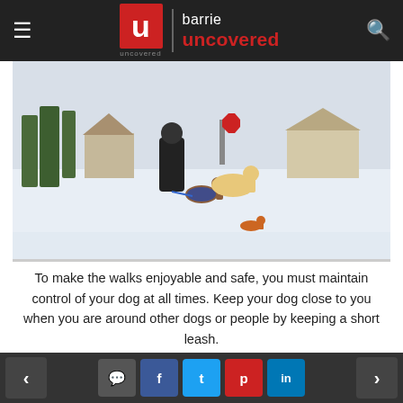barrie uncovered
[Figure (photo): Person walking two dogs on a snowy street in winter. A small orange dog runs in the foreground on the snow-covered road. Houses and trees visible in background.]
To make the walks enjoyable and safe, you must maintain control of your dog at all times. Keep your dog close to you when you are around other dogs or people by keeping a short leash.
You can make walks less stressful by training loose-leash
< comment f t p in >